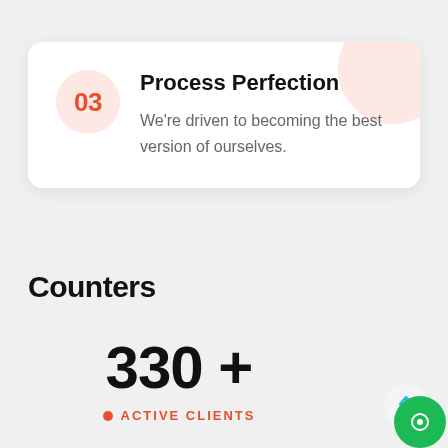[Figure (infographic): Card with number 03 in a peach circle, title 'Process Perfection', and description text. Decorative peach circle in top-right corner of card.]
Counters
330 +
• ACTIVE CLIENTS